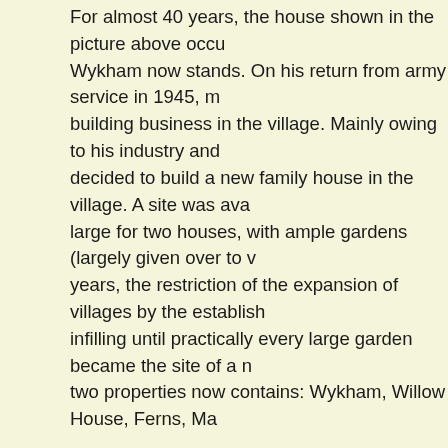For almost 40 years, the house shown in the picture above occu Wykham now stands. On his return from army service in 1945, m building business in the village. Mainly owing to his industry and decided to build a new family house in the village. A site was ava large for two houses, with ample gardens (largely given over to v years, the restriction of the expansion of villages by the establish infilling until practically every large garden became the site of a n two properties now contains: Wykham, Willow House, Ferns, Ma
The early 1950s was a period of massive countrywide reconstru war. Building materials were scarce and often rationed by govern the city still comprising bombed sites, the ubiquitous London stoc who could collect them, clean them and re-use them. Hence the journeys to London, struggling home with enormous loads of bric tiles were rare. However, Canadian cedarwood shingles were rea and these became the chosen roofing material.
The village had no public water supply in those days. Neverthele fittings was included in the design. Rain water from the roof was pumped up into the header tank in the roof. It was somewhat bro purposes. Drinking water came from the stream at the bottom of filling the fresh water buckets were daily tasks that awaited me o sewerage arrived in the village the house had a septic tank in the